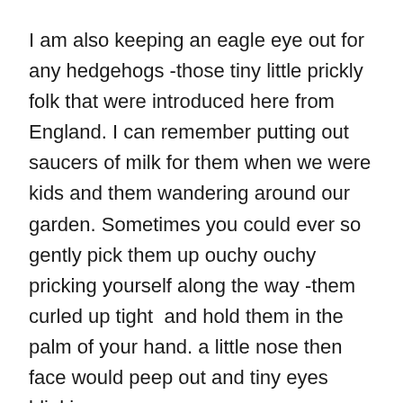I am also keeping an eagle eye out for any hedgehogs -those tiny little prickly folk that were introduced here from England. I can remember putting out saucers of milk for them when we were kids and them wandering around our garden. Sometimes you could ever so gently pick them up ouchy ouchy pricking yourself along the way -them curled up tight  and hold them in the palm of your hand. a little nose then face would peep out and tiny eyes blinking .
Bumblebees are another treasure here that we don’t see at home in Oz – some 5 or 6 species here – they are bzzzing around my sisters garden but here unfortunately Dad ripped out the garden after